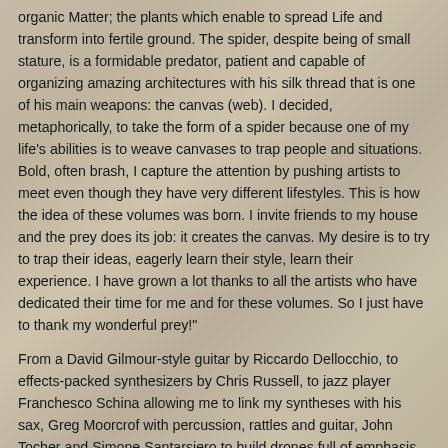organic Matter; the plants which enable to spread Life and transform into fertile ground. The spider, despite being of small stature, is a formidable predator, patient and capable of organizing amazing architectures with his silk thread that is one of his main weapons: the canvas (web). I decided, metaphorically, to take the form of a spider because one of my life's abilities is to weave canvases to trap people and situations. Bold, often brash, I capture the attention by pushing artists to meet even though they have very different lifestyles. This is how the idea of these volumes was born. I invite friends to my house and the prey does its job: it creates the canvas. My desire is to try to trap their ideas, eagerly learn their style, learn their experience. I have grown a lot thanks to all the artists who have dedicated their time for me and for these volumes. So I just have to thank my wonderful prey!"
From a David Gilmour-style guitar by Riccardo Dellocchio, to effects-packed synthesizers by Chris Russell, to jazz player Franchesco Schina allowing me to link my syntheses with his sax, Greg Moorcrof with percussion, rattles and guitar, John Tocher and Simone Santarsiero to build drones full of emphasis and mystery, Massimo Di Nocera with his splendid and romantic acoustic guitar (he produces music for yoga practices and I have the honor of coloring his live performances with keyboards and environmental recordings. The energetic "Nightlife" piece by Nicola Serena and Alessandro Manno, Reese William with a drone generated by his voice, Giuseppe Dal Bianco taught